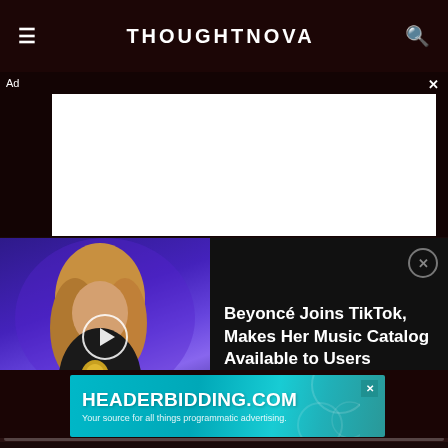THOUGHTNOVA
Ad ×
[Figure (photo): White advertisement placeholder box]
[Figure (screenshot): Video thumbnail showing Beyoncé at Grammy Awards with play button overlay on purple/blue background, next to text reading: Beyoncé Joins TikTok, Makes Her Music Catalog Available to Users]
Beyoncé Joins TikTok, Makes Her Music Catalog Available to Users
[Figure (screenshot): Advertisement banner: HEADERBIDDING.COM — Your source for all things programmatic advertising.]